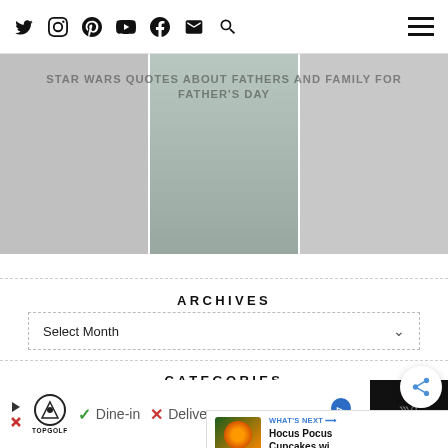Social media icons and navigation bar with hamburger menu
STAR WARS QUOTES ABOUT FATHERS AND FAMILY FOR FATHER'S DAY
ARCHIVES
Select Month
CATEGORIES
Select Category
WHAT'S NEXT → Hocus Pocus Cupcakes wi...
[Figure (screenshot): Advertisement banner for TopGolf showing Dine-in and Delivery options with map icon]